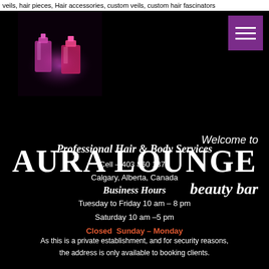veils, hair pieces, Hair accessories, custom veils, custom hair fascinators
[Figure (illustration): Glowing pink/purple perfume bottles on dark background with purple haze]
[Figure (illustration): Purple hamburger menu icon (three white horizontal lines on purple square background)]
Welcome to
AURA LOUNGE
beauty bar
Professional Hair & Body Services
Cell – 403 860 1377
Calgary, Alberta, Canada
Business Hours
Tuesday to Friday 10 am – 8 pm
Saturday 10 am –5 pm
Closed  Sunday – Monday
As this is a private establishment, and for security reasons, the address is only available to booking clients.